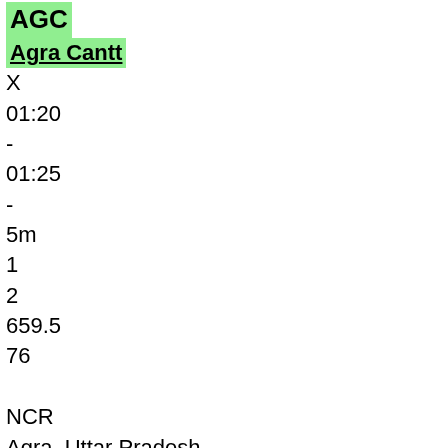AGC
Agra Cantt
X
01:20
-
01:25
-
5m
1
2
659.5
76
NCR
Agra, Uttar Pradesh
13 intermediate stations
01:33
118.2
13
/==/
GWL
Gwalior Jn
02:58
-
03:00